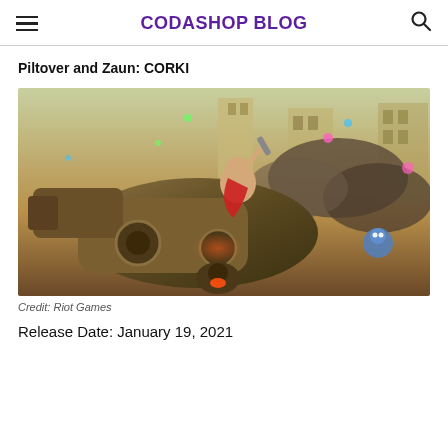CODASHOP BLOG
Piltover and Zaun: CORKI
[Figure (illustration): Game art illustration of Corki champion from League of Legends/Wild Rift, riding a large mechanical vehicle with weapons, set in a steampunk cityscape background with colorful particles.]
Credit: Riot Games
Release Date: January 19, 2021